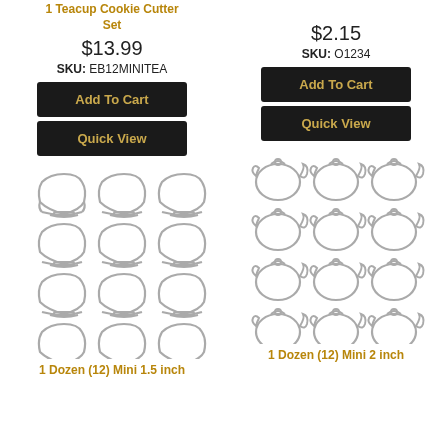1 Teacup Cookie Cutter Set
$13.99
SKU: EB12MINITEA
Add To Cart
Quick View
Mini Cookie Cutter
$2.15
SKU: O1234
Add To Cart
Quick View
[Figure (photo): 12 mini teacup shaped cookie cutters arranged in 4 rows of 3]
1 Dozen (12) Mini 1.5 inch
[Figure (photo): 12 mini teapot shaped cookie cutters arranged in 4 rows of 3]
1 Dozen (12) Mini 2 inch